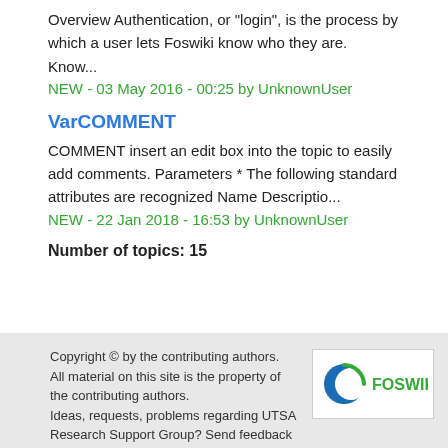Overview Authentication, or "login", is the process by which a user lets Foswiki know who they are. Know...
NEW - 03 May 2016 - 00:25 by UnknownUser
VarCOMMENT
COMMENT insert an edit box into the topic to easily add comments. Parameters * The following standard attributes are recognized Name Descriptio...
NEW - 22 Jan 2018 - 16:53 by UnknownUser
Number of topics: 15
Copyright © by the contributing authors. All material on this site is the property of the contributing authors. Ideas, requests, problems regarding UTSA Research Support Group? Send feedback